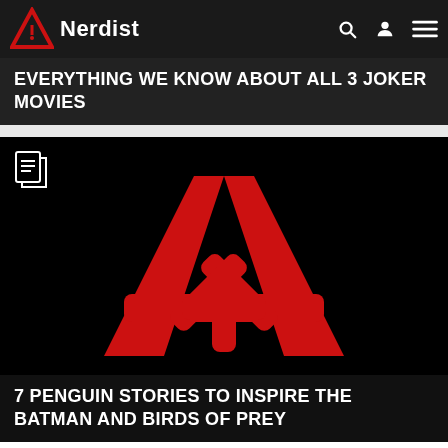Nerdist
EVERYTHING WE KNOW ABOUT ALL 3 JOKER MOVIES
[Figure (logo): Nerdist logo — large red letter A with asterisk crossbar on black background]
7 PENGUIN STORIES TO INSPIRE THE BATMAN AND BIRDS OF PREY